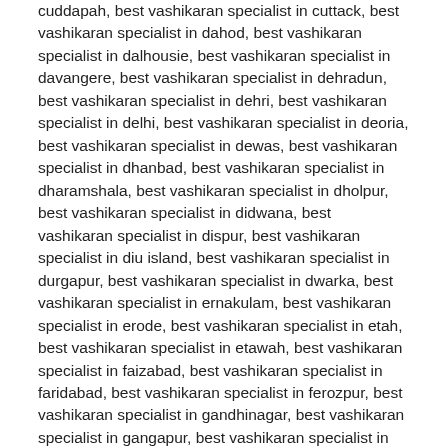cuddapah, best vashikaran specialist in cuttack, best vashikaran specialist in dahod, best vashikaran specialist in dalhousie, best vashikaran specialist in davangere, best vashikaran specialist in dehradun, best vashikaran specialist in dehri, best vashikaran specialist in delhi, best vashikaran specialist in deoria, best vashikaran specialist in dewas, best vashikaran specialist in dhanbad, best vashikaran specialist in dharamshala, best vashikaran specialist in dholpur, best vashikaran specialist in didwana, best vashikaran specialist in dispur, best vashikaran specialist in diu island, best vashikaran specialist in durgapur, best vashikaran specialist in dwarka, best vashikaran specialist in ernakulam, best vashikaran specialist in erode, best vashikaran specialist in etah, best vashikaran specialist in etawah, best vashikaran specialist in faizabad, best vashikaran specialist in faridabad, best vashikaran specialist in ferozpur, best vashikaran specialist in gandhinagar, best vashikaran specialist in gangapur, best vashikaran specialist in gangtok, best vashikaran specialist in gariagaya, best vashikaran specialist in ghaziabad, best vashikaran specialist in godhragokul, best vashikaran specialist in gonda, best vashikaran specialist in